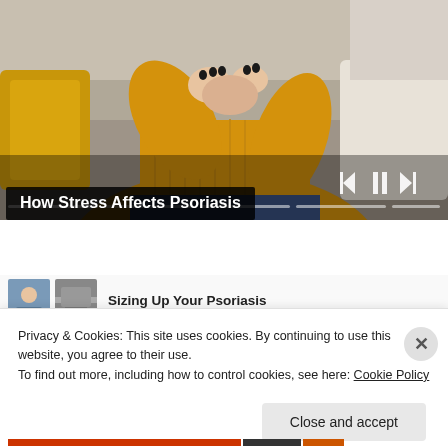[Figure (photo): Woman in yellow/mustard knit sweater sitting on a grey couch, scratching or examining her elbow. Yellow pillow visible in background. Video player controls (previous, pause, next) and progress bar segments overlaid on the image.]
How Stress Affects Psoriasis
[Figure (screenshot): Thumbnail images of a related article about Sizing Up Your Psoriasis, partially visible below the video.]
Sizing Up Your Psoriasis
Privacy & Cookies: This site uses cookies. By continuing to use this website, you agree to their use.
To find out more, including how to control cookies, see here: Cookie Policy
Close and accept